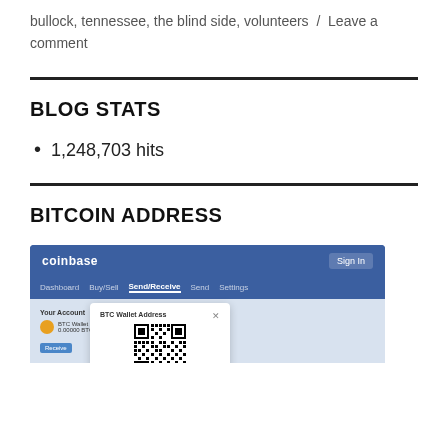bullock, tennessee, the blind side, volunteers / Leave a comment
BLOG STATS
1,248,703 hits
BITCOIN ADDRESS
[Figure (screenshot): Screenshot of Coinbase website showing a Bitcoin address QR code modal dialog]